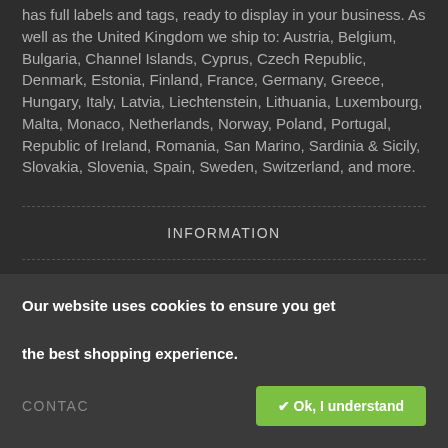has full labels and tags, ready to display in your business. As well as the United Kingdom we ship to: Austria, Belgium, Bulgaria, Channel Islands, Cyprus, Czech Republic, Denmark, Estonia, Finland, France, Germany, Greece, Hungary, Italy, Latvia, Liechtenstein, Lithuania, Luxembourg, Malta, Monaco, Netherlands, Norway, Poland, Portugal, Republic of Ireland, Romania, San Marino, Sardinia & Sicily, Slovakia, Slovenia, Spain, Sweden, Switzerland, and more.
INFORMATION
CUSTOMER SERVICE
EXTRAS
Our website uses cookies to ensure you get the best shopping experience.
CONTACT